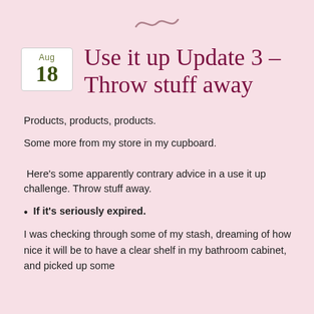[Figure (illustration): Decorative swirl/wave ornament in dusty rose color at the top center of the page]
Use it up Update 3 – Throw stuff away
Products, products, products.
Some more from my store in my cupboard.
Here's some apparently contrary advice in a use it up challenge. Throw stuff away.
If it's seriously expired.
I was checking through some of my stash, dreaming of how nice it will be to have a clear shelf in my bathroom cabinet, and picked up some